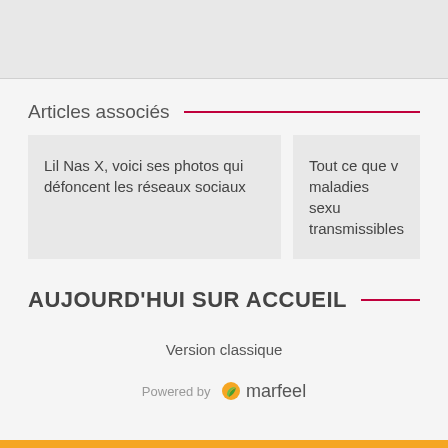[Figure (other): Gray placeholder box at top]
Articles associés
Lil Nas X, voici ses photos qui défoncent les réseaux sociaux
Tout ce que vous devez savoir sur les maladies sexuellement transmissibles
AUJOURD'HUI SUR ACCUEIL
Version classique
Powered by marfeel